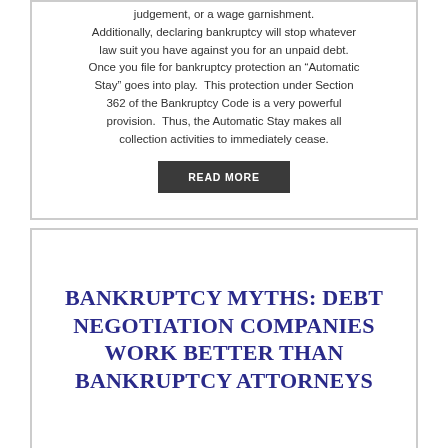judgement, or a wage garnishment. Additionally, declaring bankruptcy will stop whatever law suit you have against you for an unpaid debt. Once you file for bankruptcy protection an “Automatic Stay” goes into play. This protection under Section 362 of the Bankruptcy Code is a very powerful provision. Thus, the Automatic Stay makes all collection activities to immediately cease.
READ MORE
BANKRUPTCY MYTHS: Debt Negotiation Companies Work Better Than Bankruptcy Attorneys